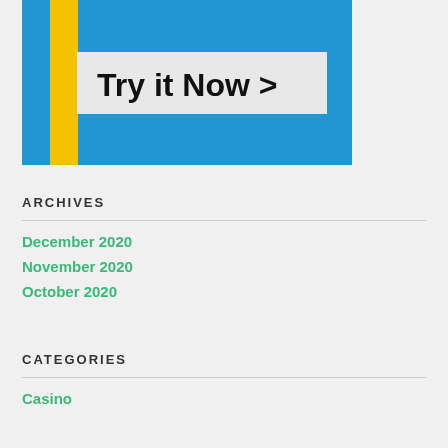[Figure (screenshot): Advertisement banner with blue background, yellow vertical stripe on left, and a white button reading 'Try it Now >']
ARCHIVES
December 2020
November 2020
October 2020
CATEGORIES
Casino